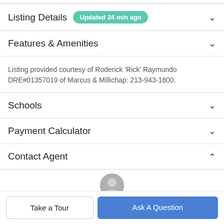Listing Details   Updated 24 min ago
Features & Amenities
Listing provided courtesy of Roderick 'Rick' Raymundo DRE#01357019 of Marcus & Millichap: 213-943-1800.
Schools
Payment Calculator
Contact Agent
Take a Tour
Ask A Question